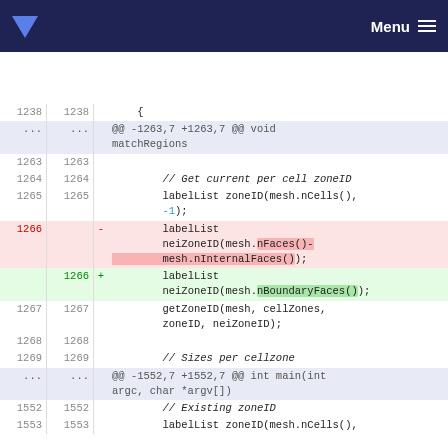Menu
[Figure (screenshot): Code diff view showing changes to a source file. Lines 1238-1269 and 1552-1553 are shown. Line 1266 is deleted (removing neiZoneID(mesh.nFaces()-mesh.nInternalFaces());) and replaced with neiZoneID(mesh.nBoundaryFaces()); A hunk header shows @@ -1263,7 +1263,7 @@ void matchRegions and @@ -1552,7 +1552,7 @@ int main(int argc, char *argv[])]